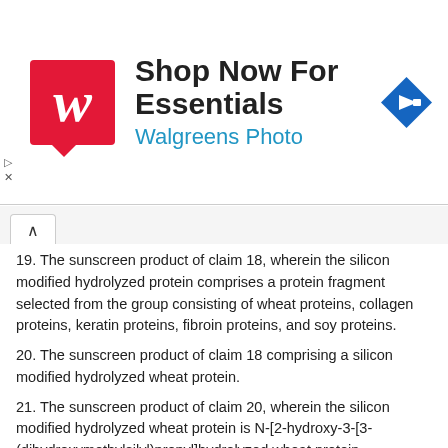[Figure (other): Walgreens Photo advertisement banner with logo, headline 'Shop Now For Essentials', subheadline 'Walgreens Photo', and a navigation arrow icon]
19. The sunscreen product of claim 18, wherein the silicon modified hydrolyzed protein comprises a protein fragment selected from the group consisting of wheat proteins, collagen proteins, keratin proteins, fibroin proteins, and soy proteins.
20. The sunscreen product of claim 18 comprising a silicon modified hydrolyzed wheat protein.
21. The sunscreen product of claim 20, wherein the silicon modified hydrolyzed wheat protein is N-[2-hydroxy-3-[3-(dihydroxymethylsilyl)propyl]hydrolyzed wheat protein.
22. The sunscreen product of claim 18 having a sand resistance of at least about 65%.
23. The sunscreen product of claim 18 having a water resistance of at least about 50%.